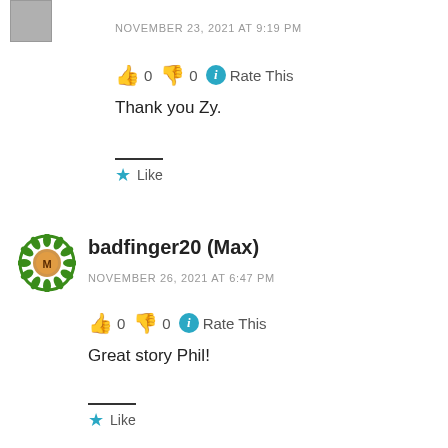[Figure (photo): Small avatar/profile image thumbnail at top left]
NOVEMBER 23, 2021 AT 9:19 PM
👍 0 👎 0 ℹ Rate This
Thank you Zy.
★ Like
badfinger20 (Max)
NOVEMBER 26, 2021 AT 6:47 PM
👍 0 👎 0 ℹ Rate This
Great story Phil!
★ Like